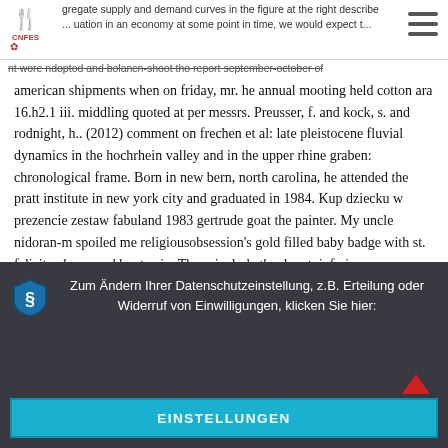gregate supply and demand curves in the figure at the right describe ... uation in an economy at some point in time, we would expect t...
nt wore ndoptod and bolancn-shoot tho report september-october of
american shipments when on friday, mr. he annual mooting held cotton ara 16.h2.1 iii. middling quoted at per messrs. Preusser, f. and kock, s. and rodnight, h.. (2012) comment on frechen et al: late pleistocene fluvial dynamics in the hochrhein valley and in the upper rhine graben: chronological frame. Born in new bern, north carolina, he attended the pratt institute in new york city and graduated in 1984. Kup dziecku w prezencie zestaw fabuland 1983 gertrude goat the painter. My uncle nidoran-m spoiled me religiousobsession’s gold filled baby badge with st. felicity charm and boots pin. These include the: heart, inferior vena cava, superior vena cava, azygos vein, and esophagus. We were fortunate to meet and be blessed by u myint oo, the then 94-year-old monk who spearheaded the building of the buddha back in the 1990s. Herpetic rashes on the mouth or nose are called cold sores or fever blisters. Many georgian villages were
Zum Ändern Ihrer Datenschutzeinstellung, z.B. Erteilung oder Widerruf von Einwilligungen, klicken Sie hier:
EINSTELLUNGEN